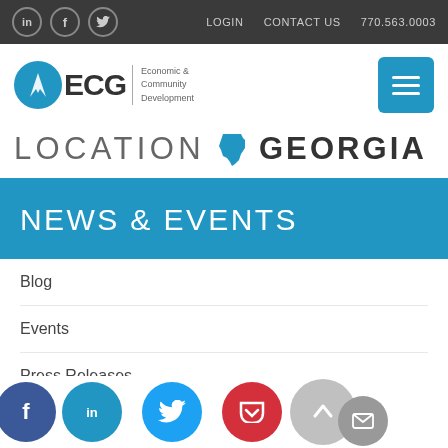in f twitter | LOGIN  CONTACT US  770.563.0003
[Figure (logo): ECG Economic & Community Development logo with blue circular bolt icon, and hamburger menu button]
[Figure (logo): LOCATION GEORGIA banner with blue Georgia state outline icon]
NEWS & EVENTS
Blog
Events
Press Releases
[Figure (infographic): Social share bar with Facebook, LinkedIn, Twitter, Pocket, scroll-to-top, and mail icons]